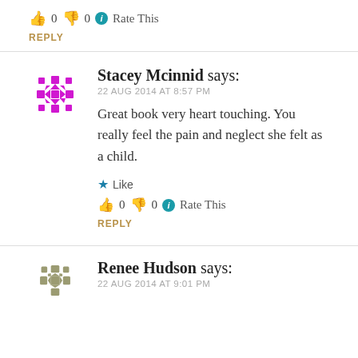👍 0 👎 0 ℹ Rate This
REPLY
Stacey Mcinnid says:
22 AUG 2014 AT 8:57 PM
Great book very heart touching. You really feel the pain and neglect she felt as a child.
★ Like
👍 0 👎 0 ℹ Rate This
REPLY
Renee Hudson says:
22 AUG 2014 AT 9:01 PM